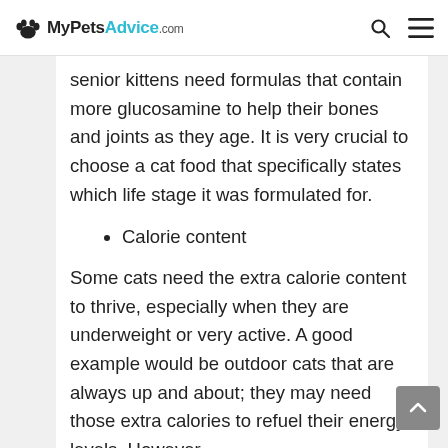MyPetsAdvice.com
senior kittens need formulas that contain more glucosamine to help their bones and joints as they age. It is very crucial to choose a cat food that specifically states which life stage it was formulated for.
Calorie content
Some cats need the extra calorie content to thrive, especially when they are underweight or very active. A good example would be outdoor cats that are always up and about; they may need those extra calories to refuel their energy levels. However